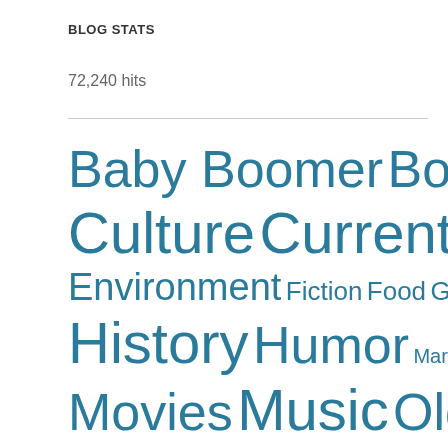BLOG STATS
72,240 hits
[Figure (infographic): Tag cloud with blog categories in varying font sizes, all in teal/blue color. Categories shown: Baby Boomer (large), Books (large), Culture (very large), Current Events (very large), Environment (medium), Fiction (medium-small), Food (medium-small), General (medium-small), History (very large), Humor (large), Maritime (medium-small), Movies (large), Music (very large), Old Movies (large)]